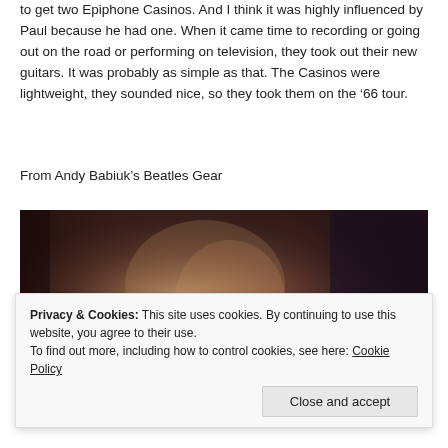to get two Epiphone Casinos. And I think it was highly influenced by Paul because he had one. When it came time to recording or going out on the road or performing on television, they took out their new guitars. It was probably as simple as that. The Casinos were lightweight, they sounded nice, so they took them on the ‘66 tour.
From Andy Babiuk’s Beatles Gear
[Figure (photo): A vintage color photograph showing a person with long hair, appearing to be in a recording studio or rehearsal space, with amplifiers visible in the background.]
Privacy & Cookies: This site uses cookies. By continuing to use this website, you agree to their use.
To find out more, including how to control cookies, see here: Cookie Policy
Close and accept